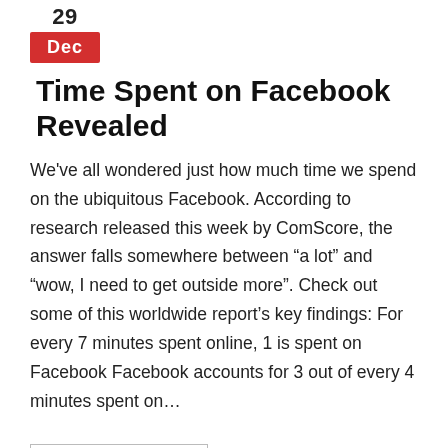29
Dec
Time Spent on Facebook Revealed
We've all wondered just how much time we spend on the ubiquitous Facebook. According to research released this week by ComScore, the answer falls somewhere between "a lot" and "wow, I need to get outside more". Check out some of this worldwide report's key findings: For every 7 minutes spent online, 1 is spent on Facebook Facebook accounts for 3 out of every 4 minutes spent on…
READ MORE